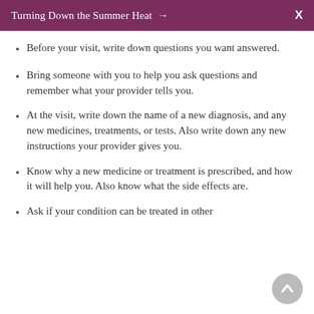Turning Down the Summer Heat →  X
Before your visit, write down questions you want answered.
Bring someone with you to help you ask questions and remember what your provider tells you.
At the visit, write down the name of a new diagnosis, and any new medicines, treatments, or tests. Also write down any new instructions your provider gives you.
Know why a new medicine or treatment is prescribed, and how it will help you. Also know what the side effects are.
Ask if your condition can be treated in other